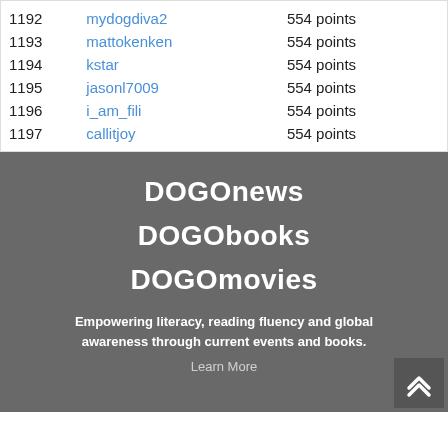1192 mydogdiva2 554 points
1193 mattokenken 554 points
1194 kstar 554 points
1195 jasonl7009 554 points
1196 i_am_fili 554 points
1197 callitjoy 554 points
DOGOnews
DOGObooks
DOGOmovies
Empowering literacy, reading fluency and global awareness through current events and books.
Learn More